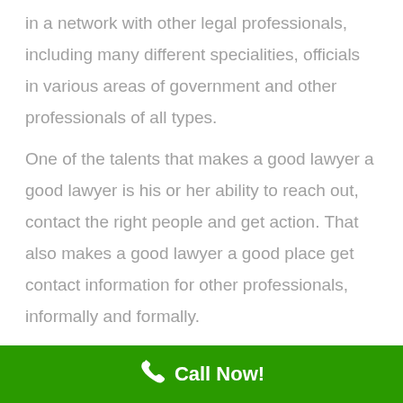in a network with other legal professionals, including many different specialities, officials in various areas of government and other professionals of all types.
One of the talents that makes a good lawyer a good lawyer is his or her ability to reach out, contact the right people and get action. That also makes a good lawyer a good place get contact information for other professionals, informally and formally.
For example, if you need an accountant to help with your taxes? A lawyer is a good person to ask who in the area is
Call Now!